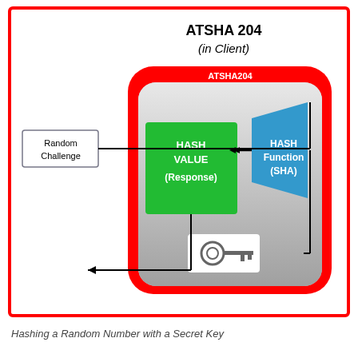[Figure (schematic): ATSHA204 chip diagram showing a random challenge input connected to a HASH Function (SHA) block, which feeds into a HASH VALUE (Response) block. A key icon feeds into the HASH Function. The response output exits the chip via an arrow. All contained within a red-bordered chip outline labeled ATSHA204 (in Client).]
Hashing a Random Number with a Secret Key